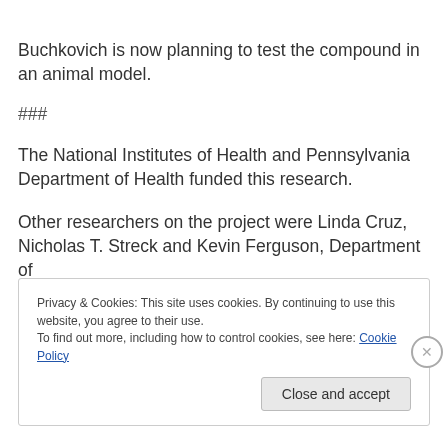Buchkovich is now planning to test the compound in an animal model.
###
The National Institutes of Health and Pennsylvania Department of Health funded this research.
Other researchers on the project were Linda Cruz, Nicholas T. Streck and Kevin Ferguson, Department of
Privacy & Cookies: This site uses cookies. By continuing to use this website, you agree to their use.
To find out more, including how to control cookies, see here: Cookie Policy
Close and accept